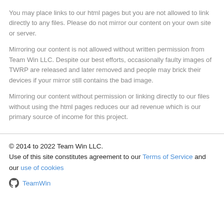You may place links to our html pages but you are not allowed to link directly to any files. Please do not mirror our content on your own site or server.
Mirroring our content is not allowed without written permission from Team Win LLC. Despite our best efforts, occasionally faulty images of TWRP are released and later removed and people may brick their devices if your mirror still contains the bad image.
Mirroring our content without permission or linking directly to our files without using the html pages reduces our ad revenue which is our primary source of income for this project.
© 2014 to 2022 Team Win LLC.
Use of this site constitutes agreement to our Terms of Service and our use of cookies
TeamWin